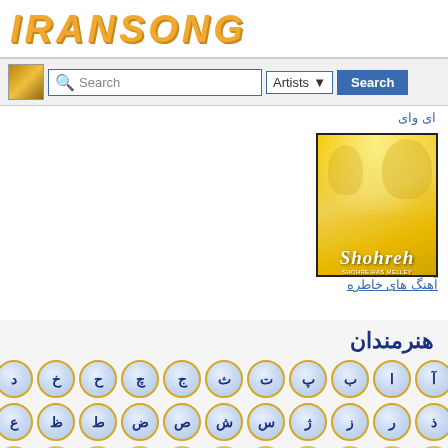[Figure (logo): IRANSONG logo in orange/gold italic bold letters]
[Figure (screenshot): Search bar with magnifier icon, text 'Search', Artists dropdown, and blue Search button]
ای وای
[Figure (photo): Album cover with yellow background showing Shohre artist, script text 'Shohreh', album titled آهنگ های خاطره]
آهنگ های خاطره
هنرمندان
Persian alphabet navigation buttons row 1: آ ا ب پ ت ث ج چ ح خ د
Persian alphabet navigation buttons row 2: ذ ر ز ژ س ش ص ض ط ظ ع
Persian alphabet navigation buttons row 3 (partial)